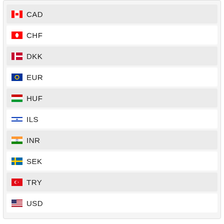CAD
CHF
DKK
EUR
HUF
ILS
INR
SEK
TRY
USD
YOU RECENTLY VIEWED...
[Figure (screenshot): Quake game cover image showing a dark fantasy scene with the QUAKE logo and a blue-haired character]